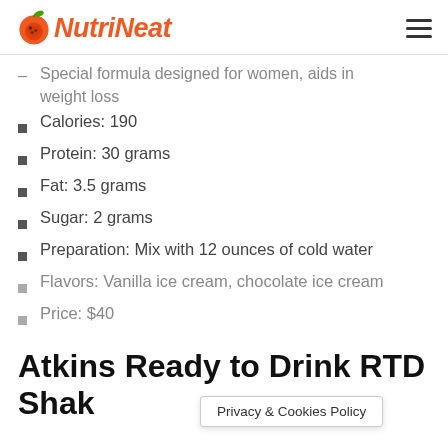NutriNeat
Special formula designed for women, aids in weight loss
Calories: 190
Protein: 30 grams
Fat: 3.5 grams
Sugar: 2 grams
Preparation: Mix with 12 ounces of cold water
Flavors: Vanilla ice cream, chocolate ice cream
Price: $40
Atkins Ready to Drink RTD Shak
Privacy & Cookies Policy